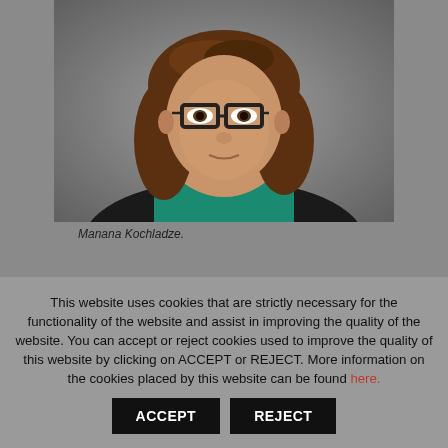[Figure (photo): Portrait photo of a woman with brown wavy hair and glasses, wearing a teal/green turtleneck and black cardigan, against a grey gradient background.]
Manana Kochladze.
This website uses cookies that are strictly necessary for the functionality of the website and assist in improving the quality of the website. You can accept or reject cookies used to improve the quality of this website by clicking on ACCEPT or REJECT. More information on the cookies placed by this website can be found here.